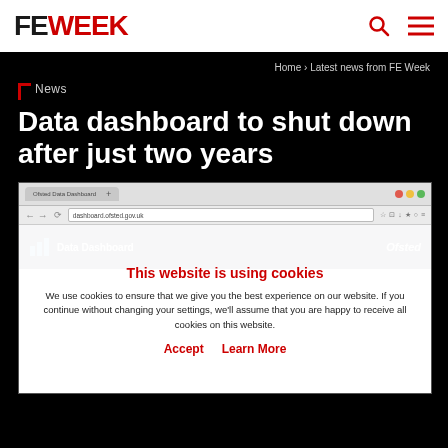FE WEEK
Home › Latest news from FE Week
News
Data dashboard to shut down after just two years
[Figure (screenshot): Screenshot of the Ofsted Data Dashboard website in a browser window, with a cookie consent overlay reading: 'This website is using cookies. We use cookies to ensure that we give you the best experience on our website. If you continue without changing your settings, we'll assume that you are happy to receive all cookies on this website.' with Accept and Learn More buttons.]